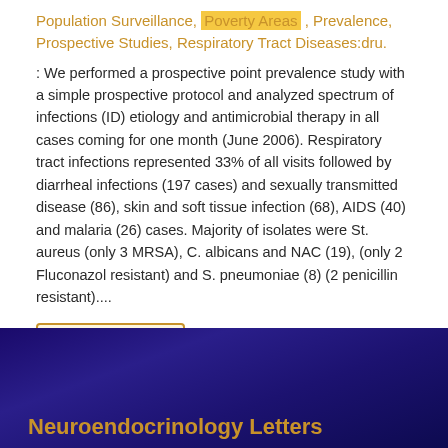Population Surveillance, Poverty Areas , Prevalence, Prospective Studies, Respiratory Tract Diseases:dru.
: We performed a prospective point prevalence study with a simple prospective protocol and analyzed spectrum of infections (ID) etiology and antimicrobial therapy in all cases coming for one month (June 2006). Respiratory tract infections represented 33% of all visits followed by diarrheal infections (197 cases) and sexually transmitted disease (86), skin and soft tissue infection (68), AIDS (40) and malaria (26) cases. Majority of isolates were St. aureus (only 3 MRSA), C. albicans and NAC (19), (only 2 Fluconazol resistant) and S. pneumoniae (8) (2 penicillin resistant)....
••• Read abstract
Neuroendocrinology Letters